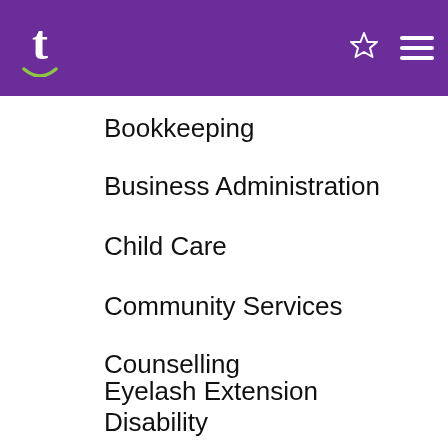Tutoring app header with logo and navigation icons
Bookkeeping
Business Administration
Child Care
Community Services
Counselling
Disability
Education
Eyelash Extension
Health
IT